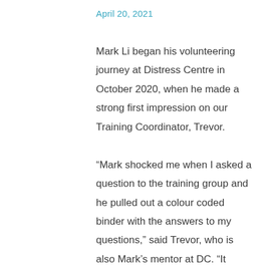April 20, 2021
Mark Li began his volunteering journey at Distress Centre in October 2020, when he made a strong first impression on our Training Coordinator, Trevor.

“Mark shocked me when I asked a question to the training group and he pulled out a colour coded binder with the answers to my questions,” said Trevor, who is also Mark’s mentor at DC. “It became clear to me that Mark